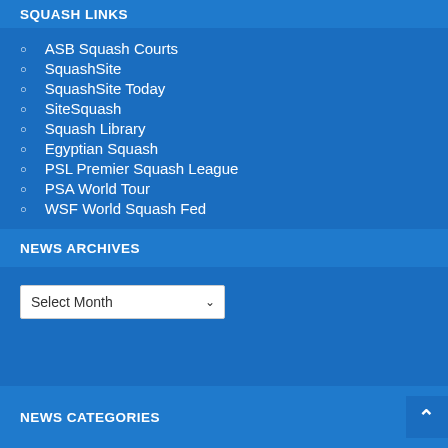SQUASH LINKS
ASB Squash Courts
SquashSite
SquashSite Today
SiteSquash
Squash Library
Egyptian Squash
PSL Premier Squash League
PSA World Tour
WSF World Squash Fed
NEWS ARCHIVES
NEWS CATEGORIES